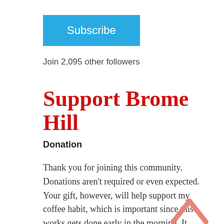[Figure (other): Subscribe button — cyan/blue rectangle with white text 'Subscribe']
Join 2,095 other followers
Support Brome Hill
Donation
Thank you for joining this community. Donations aren't required or even expected. Your gift, however, will help support my coffee habit, which is important since this works gets done early in the morning. It would be greatly appreciated.
$5.00